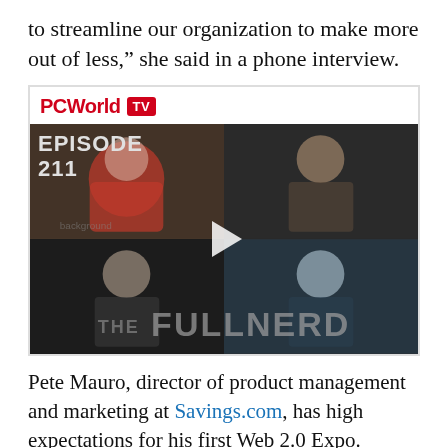to streamline our organization to make more out of less,” she said in a phone interview.
[Figure (screenshot): PCWorld TV video thumbnail showing Episode 211 of The Full Nerd podcast with four hosts in a grid layout and a play button in the center.]
Pete Mauro, director of product management and marketing at Savings.com, has high expectations for his first Web 2.0 Expo. Working in a start-up, he wears many hats, so he plans to attend sessions